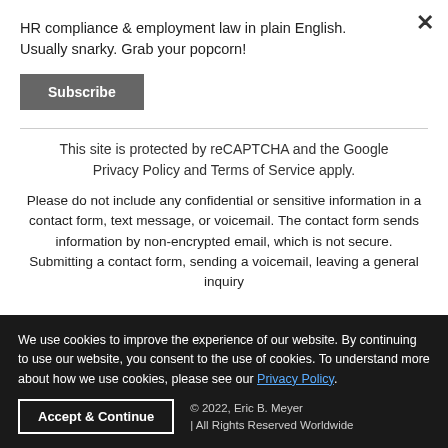HR compliance & employment law in plain English. Usually snarky. Grab your popcorn!
Subscribe
This site is protected by reCAPTCHA and the Google Privacy Policy and Terms of Service apply.
Please do not include any confidential or sensitive information in a contact form, text message, or voicemail. The contact form sends information by non-encrypted email, which is not secure. Submitting a contact form, sending a voicemail, leaving a general inquiry...
We use cookies to improve the experience of our website. By continuing to use our website, you consent to the use of cookies. To understand more about how we use cookies, please see our Privacy Policy.
Accept & Continue
© 2022, Eric B. Meyer | All Rights Reserved Worldwide